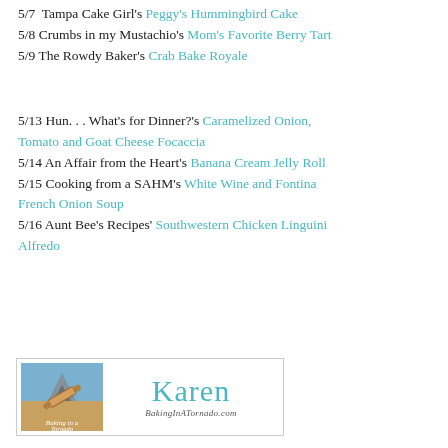5/7  Tampa Cake Girl's Peggy's Hummingbird Cake
5/8 Crumbs in my Mustachio's Mom's Favorite Berry Tart
5/9 The Rowdy Baker's Crab Bake Royale
5/13 Hun. . . What's for Dinner?'s Caramelized Onion, Tomato and Goat Cheese Focaccia
5/14 An Affair from the Heart's Banana Cream Jelly Roll
5/15 Cooking from a SAHM's White Wine and Fontina French Onion Soup
5/16 Aunt Bee's Recipes' Southwestern Chicken Linguini Alfredo
[Figure (logo): BakingInATornado.com logo with rolling pin graphic on left and cursive Karen signature with website URL on right]